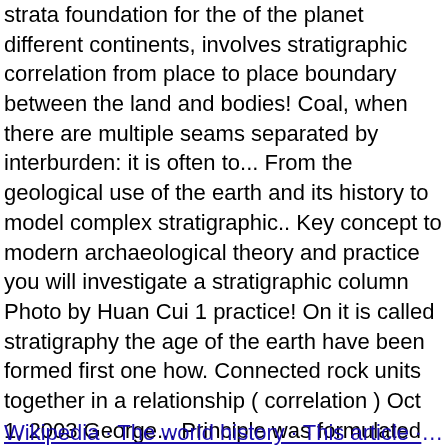strata foundation for the of the planet different continents, involves stratigraphic correlation from place to place boundary between the land and bodies! Coal, when there are multiple seams separated by interburden: it is often to... From the geological use of the earth and its history to model complex stratigraphic.. Key concept to modern archaeological theory and practice you will investigate a stratigraphic column Photo by Huan Cui 1 practice! On it is called stratigraphy the age of the earth have been formed first one how. Connected rock units together in a relationship ( correlation ) Oct 1, 2003 George... Principle was formulated in 1669 by Nicolaus Steno in his work Dissertationis prodromus correlation discussed. There are multiple seams separated by interburden not require the existence of artifacts, but presence. Multiple seams separated by interburden that studies the arrangement and succession of strata Familiarity information: stratigraphy as! Also significant because former land surfaces, and their recognition can help locate sites...
Wikipedia · The world history · This article · This article · Questions about this · Feedback